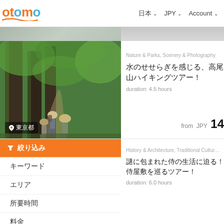otomo  日本  JPY  Account
[Figure (photo): Forest hiking trail with large moss-covered trees and hikers in hats]
東京都
Nature & Parks, Scenery & Photography
水のせせらぎを感じる、高尾山ハイキングツアー！
duration: 4.5 hours
from  JPY 14
[Figure (photo): Traditional Japanese interior room - samurai tour]
絞り込み
キーワード
エリア
所要時間
料金
History & Architecture, Traditional Culture
謎に包まれた侍の生活に迫る！侍屋敷を巡るツアー！
duration: 6.0 hours